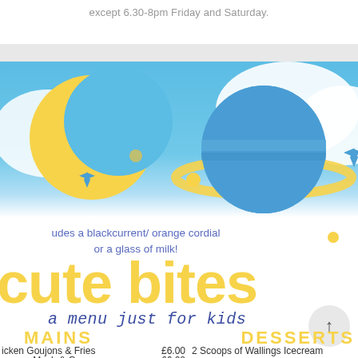except 6.30-8pm Friday and Saturday.
[Figure (illustration): Space-themed illustration with a yellow crescent moon, blue and yellow planet with rings (Saturn-like), blue star shapes, yellow dots, and white cloud shapes on a blue sky background.]
udes a blackcurrent/ orange cordial or a glass of milk!
cute bites
a menu just for kids
MAINS
DESSERTS
icken Goujons & Fries    £6.00    2 Scoops of Wallings Icecream
usage, Mash & Gravy    £6.00